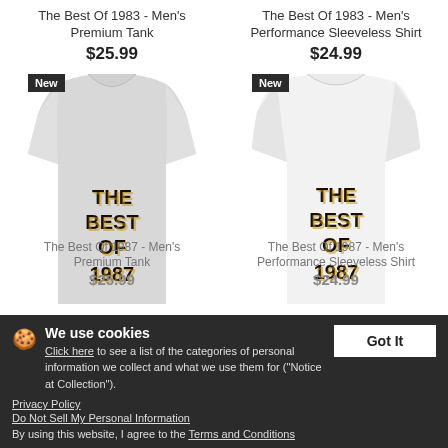The Best Of 1983 - Men's Premium Tank
$25.99
The Best Of 1983 - Men's Performance Sleeveless Shirt
$24.99
[Figure (photo): Gray men's premium tank top with 'THE BEST OF 1987' text printed on front, with a 'New' badge in corner]
[Figure (photo): White men's performance sleeveless shirt with 'THE BEST OF 1987' text printed on front, with a 'New' badge in corner]
The Best Of 1987 - Men's Premium Tank
The Best Of 1987 - Men's Performance Sleeveless Shirt
$24.99
We use cookies
Click here to see a list of the categories of personal information we collect and what we use them for ("Notice at Collection").
Privacy Policy
Do Not Sell My Personal Information
By using this website, I agree to the Terms and Conditions